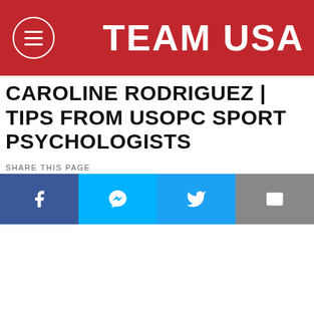TEAM USA
CAROLINE RODRIGUEZ | TIPS FROM USOPC SPORT PSYCHOLOGISTS
SHARE THIS PAGE
[Figure (infographic): Social share buttons bar with four icons: Facebook (f), Messenger (chat bubble), Twitter (bird), Email (envelope)]